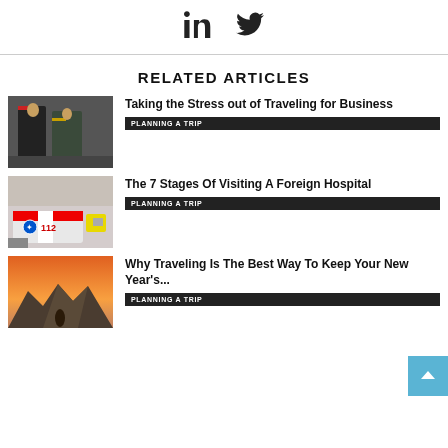[Figure (infographic): Social share icons: LinkedIn and Twitter]
RELATED ARTICLES
[Figure (photo): Two business professionals in suits walking]
Taking the Stress out of Traveling for Business
PLANNING A TRIP
[Figure (photo): Ambulance with 112 markings on street]
The 7 Stages Of Visiting A Foreign Hospital
PLANNING A TRIP
[Figure (photo): Person standing in front of mountains at sunset]
Why Traveling Is The Best Way To Keep Your New Year's...
PLANNING A TRIP